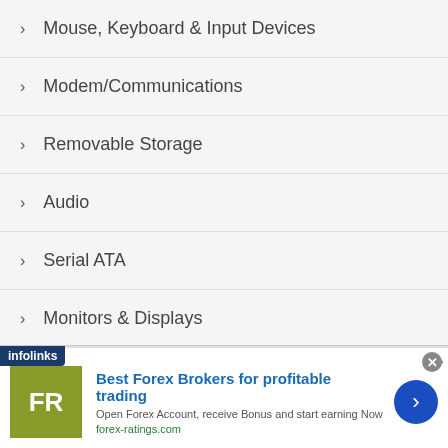Mouse, Keyboard & Input Devices
Modem/Communications
Removable Storage
Audio
Serial ATA
Monitors & Displays
Network
Application
[Figure (screenshot): Advertisement banner: infolinks logo, FR logo (olive/yellow background), 'Best Forex Brokers for profitable trading', 'Open Forex Account, receive Bonus and start earning Now', 'forex-ratings.com', blue circle arrow button, close X button]